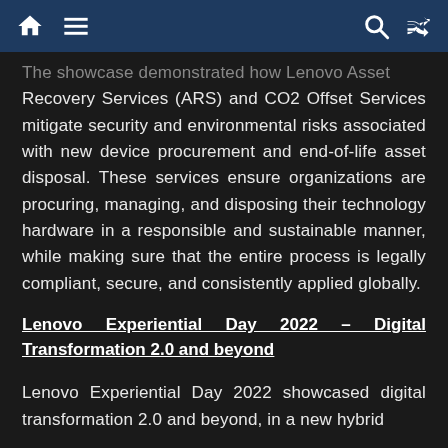[navigation icons: home, menu, search, shuffle]
The showcase demonstrated how Lenovo Asset Recovery Services (ARS) and CO2 Offset Services mitigate security and environmental risks associated with new device procurement and end-of-life asset disposal. These services ensure organizations are procuring, managing, and disposing their technology hardware in a responsible and sustainable manner, while making sure that the entire process is legally compliant, secure, and consistently applied globally.
Lenovo Experiential Day 2022 – Digital Transformation 2.0 and beyond
Lenovo Experiential Day 2022 showcased digital transformation 2.0 and beyond, in a new hybrid